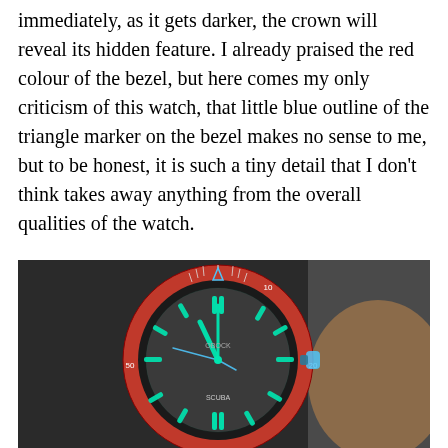immediately, as it gets darker, the crown will reveal its hidden feature. I already praised the red colour of the bezel, but here comes my only criticism of this watch, that little blue outline of the triangle marker on the bezel makes no sense to me, but to be honest, it is such a tiny detail that I don't think takes away anything from the overall qualities of the watch.
[Figure (photo): A diver watch with a red bezel glowing in the dark, showing bright teal/green luminous hour markers and hands. The crown on the right side glows blue. The dial has 'SCUBA' text visible at the bottom and brand markings in the center.]